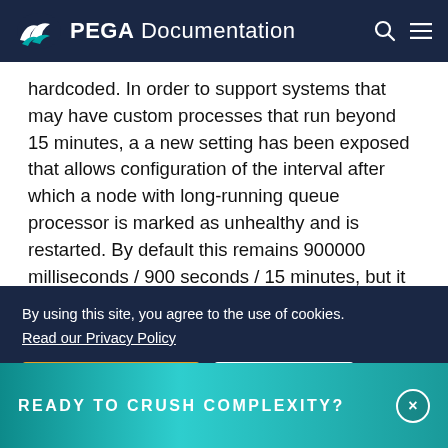PEGA Documentation
hardcoded. In order to support systems that may have custom processes that run beyond 15 minutes, a a new setting has been exposed that allows configuration of the interval after which a node with long-running queue processor is marked as unhealthy and is restarted. By default this remains 900000 milliseconds / 900 seconds / 15 minutes, but it may be adjusted up to 24 hours to avoid premature node shutdown. The
READY TO CRUSH COMPLEXITY?
By using this site, you agree to the use of cookies. Read our Privacy Policy
Accept and continue
About cookies